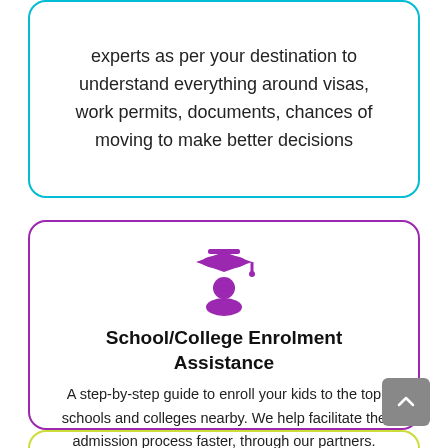experts as per your destination to understand everything around visas, work permits, documents, chances of moving to make better decisions
[Figure (illustration): Purple graduation cap and student/person silhouette icon]
School/College Enrolment Assistance
A step-by-step guide to enroll your kids to the top schools and colleges nearby. We help facilitate the admission process faster, through our partners.